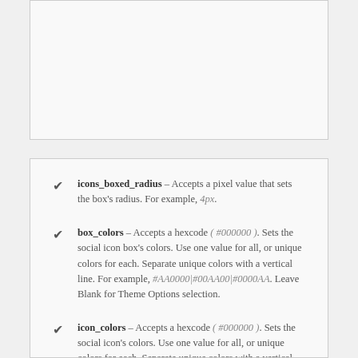[Figure (other): Top gray box, content not visible (cut off from previous section)]
icons_boxed_radius – Accepts a pixel value that sets the box's radius. For example, 4px.
box_colors – Accepts a hexcode ( #000000 ). Sets the social icon box's colors. Use one value for all, or unique colors for each. Separate unique colors with a vertical line. For example, #AA0000|#00AA00|#0000AA. Leave Blank for Theme Options selection.
icon_colors – Accepts a hexcode ( #000000 ). Sets the social icon's colors. Use one value for all, or unique colors for each. Separate unique colors with a vertical line. For example,